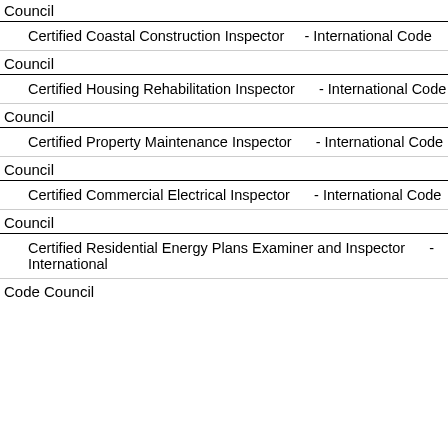Council
Certified Coastal Construction Inspector    - International Code Council
Council
Certified Housing Rehabilitation Inspector     - International Code Council
Council
Certified Property Maintenance Inspector      - International Code Council
Council
Certified Commercial Electrical Inspector      - International Code Council
Council
Certified Residential Energy Plans Examiner and Inspector      - International Code Council